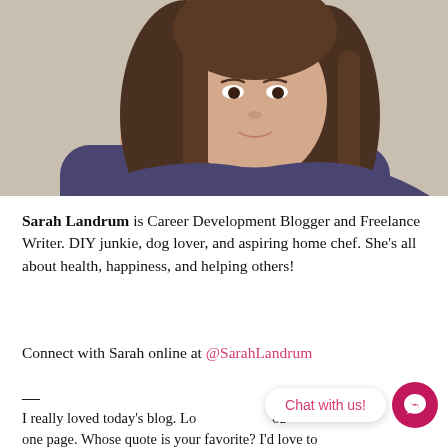[Figure (photo): Headshot photo of Sarah Landrum, a woman with brown shoulder-length hair wearing a dark purple/navy top, photographed against a neutral background. The image is cropped to show head and upper shoulders.]
Sarah Landrum is Career Development Blogger and Freelance Writer. DIY junkie, dog lover, and aspiring home chef. She's all about health, happiness, and helping others!
Connect with Sarah online at @SarahLandrum
—
I really loved today's blog. Lo... [page cut] ...oa... one page. Whose quote is your favorite? I'd love to...